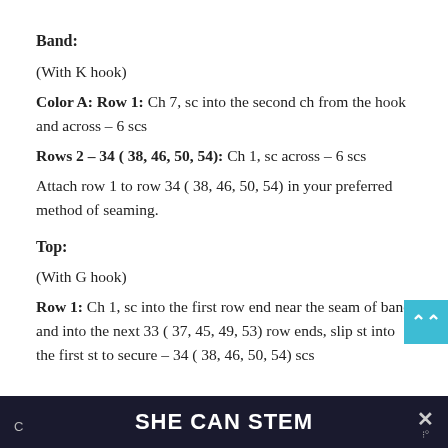Band:
(With K hook)
Color A: Row 1: Ch 7, sc into the second ch from the hook and across – 6 scs
Rows 2 – 34 ( 38, 46, 50, 54): Ch 1, sc across – 6 scs
Attach row 1 to row 34 ( 38, 46, 50, 54) in your preferred method of seaming.
Top:
(With G hook)
Row 1: Ch 1, sc into the first row end near the seam of band and into the next 33 ( 37, 45, 49, 53) row ends, slip st into the first st to secure – 34 ( 38, 46, 50, 54) scs
SHE CAN STEM